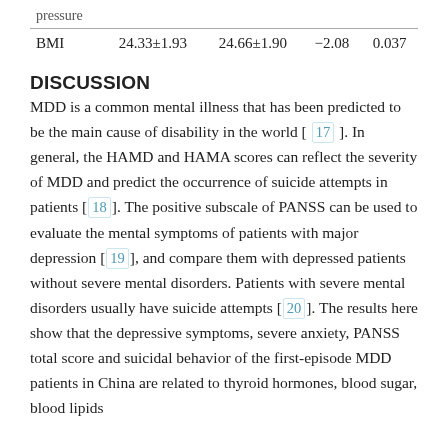|  |  |  |  |  |
| --- | --- | --- | --- | --- |
| pressure |  |  |  |  |
| BMI | 24.33±1.93 | 24.66±1.90 | −2.08 | 0.037 |
DISCUSSION
MDD is a common mental illness that has been predicted to be the main cause of disability in the world [17]. In general, the HAMD and HAMA scores can reflect the severity of MDD and predict the occurrence of suicide attempts in patients [18]. The positive subscale of PANSS can be used to evaluate the mental symptoms of patients with major depression [19], and compare them with depressed patients without severe mental disorders. Patients with severe mental disorders usually have suicide attempts [20]. The results here show that the depressive symptoms, severe anxiety, PANSS total score and suicidal behavior of the first-episode MDD patients in China are related to thyroid hormones, blood sugar, blood lipids